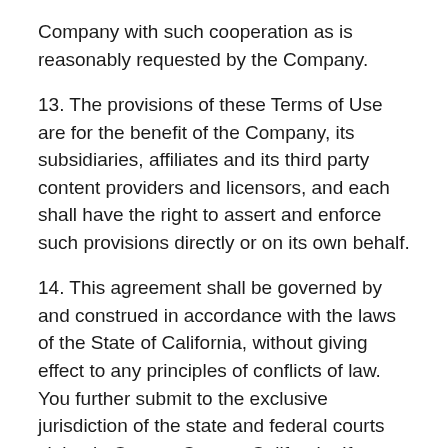Company with such cooperation as is reasonably requested by the Company.
13. The provisions of these Terms of Use are for the benefit of the Company, its subsidiaries, affiliates and its third party content providers and licensors, and each shall have the right to assert and enforce such provisions directly or on its own behalf.
14. This agreement shall be governed by and construed in accordance with the laws of the State of California, without giving effect to any principles of conflicts of law. You further submit to the exclusive jurisdiction of the state and federal courts sitting in Orange County, California. If any provision of this agreement shall be unlawful, void, or for any reason unenforceable, then that provision shall be deemed severable from this